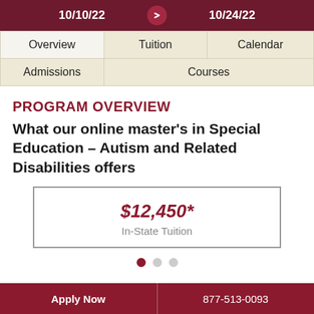10/10/22  10/24/22
| Overview | Tuition | Calendar |
| --- | --- | --- |
| Admissions | Courses |  |
PROGRAM OVERVIEW
What our online master's in Special Education – Autism and Related Disabilities offers
$12,450* In-State Tuition
Apply Now  877-513-0093